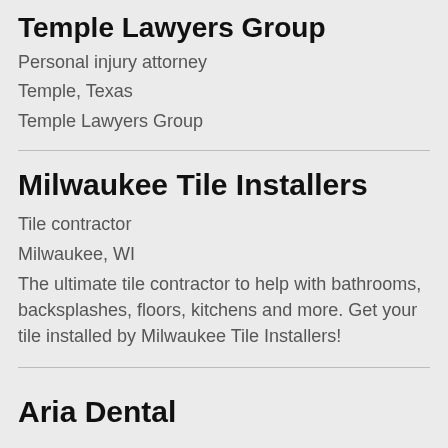Temple Lawyers Group
Personal injury attorney
Temple, Texas
Temple Lawyers Group
Milwaukee Tile Installers
Tile contractor
Milwaukee, WI
The ultimate tile contractor to help with bathrooms, backsplashes, floors, kitchens and more. Get your tile installed by Milwaukee Tile Installers!
Aria Dental